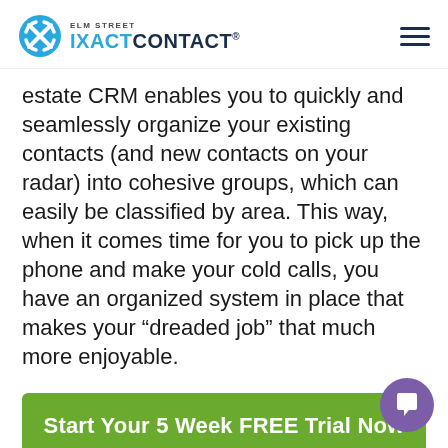ELM STREET IXACTCONTACT
estate CRM enables you to quickly and seamlessly organize your existing contacts (and new contacts on your radar) into cohesive groups, which can easily be classified by area. This way, when it comes time for you to pick up the phone and make your cold calls, you have an organized system in place that makes your “dreaded job” that much more enjoyable.
[Figure (other): Green CTA button: Start Your 5 Week FREE Trial Now]
Tags: best real estate CRM, best real estate marke… tools, building a real estate website, real estate…